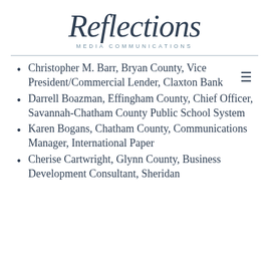Reflections MEDIA COMMUNICATIONS
Christopher M. Barr, Bryan County, Vice President/Commercial Lender, Claxton Bank
Darrell Boazman, Effingham County, Chief Officer, Savannah-Chatham County Public School System
Karen Bogans, Chatham County, Communications Manager, International Paper
Cherise Cartwright, Glynn County, Business Development Consultant, Sheridan